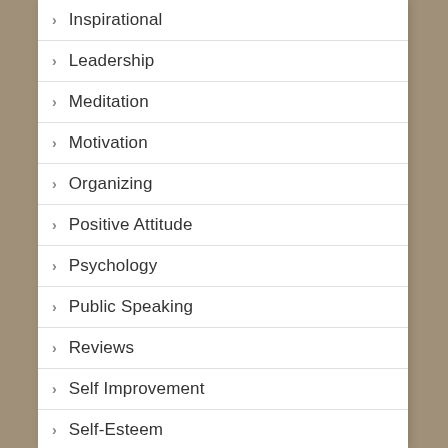Inspirational
Leadership
Meditation
Motivation
Organizing
Positive Attitude
Psychology
Public Speaking
Reviews
Self Improvement
Self-Esteem